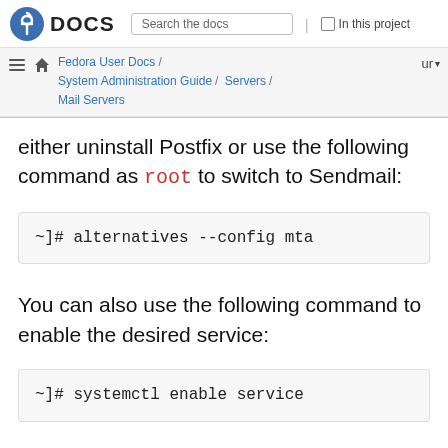DOCS | Search the docs | In this project | Fedora User Docs / System Administration Guide / Servers / Mail Servers | ur
either uninstall Postfix or use the following command as root to switch to Sendmail:
~]# alternatives --config mta
You can also use the following command to enable the desired service:
~]# systemctl enable service
Similarly, to disable the service, type the following at a shell prompt: